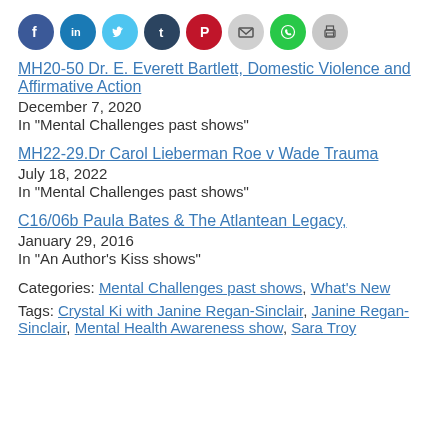[Figure (other): Row of social sharing icon circles: Facebook (blue), LinkedIn (light blue), Twitter (sky blue), Tumblr (dark navy), Pinterest (red), Email (gray), WhatsApp (green), Print (light gray)]
MH20-50 Dr. E. Everett Bartlett, Domestic Violence and Affirmative Action
December 7, 2020
In "Mental Challenges past shows"
MH22-29.Dr Carol Lieberman Roe v Wade Trauma
July 18, 2022
In "Mental Challenges past shows"
C16/06b Paula Bates & The Atlantean Legacy,
January 29, 2016
In "An Author's Kiss shows"
Categories: Mental Challenges past shows, What's New
Tags: Crystal Ki with Janine Regan-Sinclair, Janine Regan-Sinclair, Mental Health Awareness show, Sara Troy